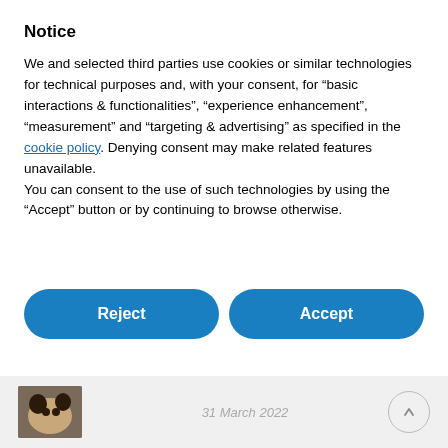Notice
We and selected third parties use cookies or similar technologies for technical purposes and, with your consent, for “basic interactions & functionalities”, “experience enhancement”, “measurement” and “targeting & advertising” as specified in the cookie policy. Denying consent may make related features unavailable.
You can consent to the use of such technologies by using the “Accept” button or by continuing to browse otherwise.
[Figure (screenshot): Two blue pill-shaped buttons labeled 'Reject' and 'Accept', and a grey pill-shaped button labeled 'Learn more and customize']
[Figure (photo): Thumbnail image of a dog in the footer strip, with date '31 March 2022' and an up-arrow circle button]